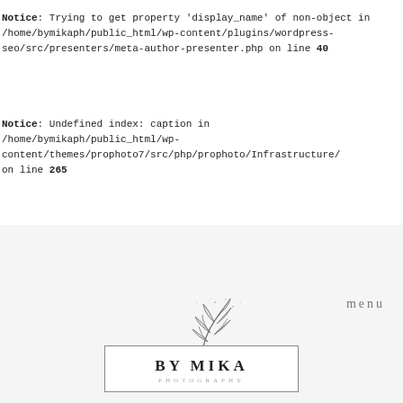Notice: Trying to get property 'display_name' of non-object in /home/bymikaph/public_html/wp-content/plugins/wordpress-seo/src/presenters/meta-author-presenter.php on line 40
Notice: Undefined index: caption in /home/bymikaph/public_html/wp-content/themes/prophoto7/src/php/prophoto/Infrastructure/ on line 265
[Figure (logo): By Mika Photography logo with botanical leaf illustration above a rectangle containing 'BY MIKA PHOTOGRAPHY' text. 'menu' text to the right.]